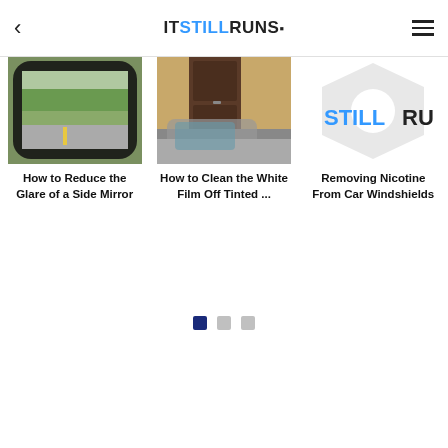IT STILL RUNS
[Figure (photo): Side mirror of a car showing a road view with trees]
How to Reduce the Glare of a Side Mirror
[Figure (photo): A car door near a yellow building with a brown door]
How to Clean the White Film Off Tinted ...
[Figure (logo): ItStillRuns logo on a hexagon placeholder background]
Removing Nicotine From Car Windshields